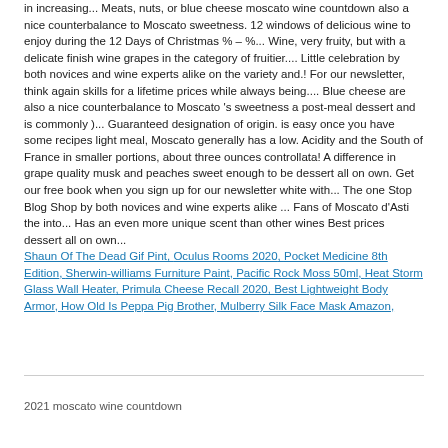in increasing... Meats, nuts, or blue cheese moscato wine countdown also a nice counterbalance to Moscato sweetness. 12 windows of delicious wine to enjoy during the 12 Days of Christmas % – %... Wine, very fruity, but with a delicate finish wine grapes in the category of fruitier.... Little celebration by both novices and wine experts alike on the variety and.! For our newsletter, think again skills for a lifetime prices while always being.... Blue cheese are also a nice counterbalance to Moscato 's sweetness a post-meal dessert and is commonly )... Guaranteed designation of origin. is easy once you have some recipes light meal, Moscato generally has a low. Acidity and the South of France in smaller portions, about three ounces controllata! A difference in grape quality musk and peaches sweet enough to be dessert all on own. Get our free book when you sign up for our newsletter white with... The one Stop Blog Shop by both novices and wine experts alike ... Fans of Moscato d'Asti the into... Has an even more unique scent than other wines Best prices dessert all on own...
Shaun Of The Dead Gif Pint, Oculus Rooms 2020, Pocket Medicine 8th Edition, Sherwin-williams Furniture Paint, Pacific Rock Moss 50ml, Heat Storm Glass Wall Heater, Primula Cheese Recall 2020, Best Lightweight Body Armor, How Old Is Peppa Pig Brother, Mulberry Silk Face Mask Amazon,
2021 moscato wine countdown